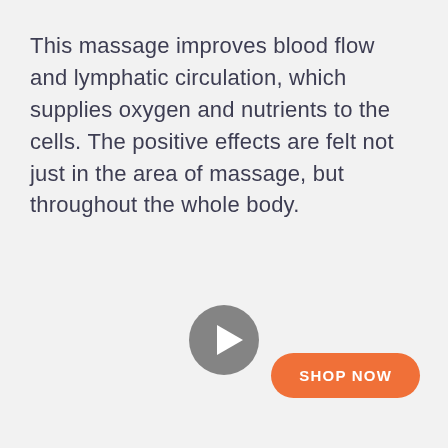This massage improves blood flow and lymphatic circulation, which supplies oxygen and nutrients to the cells. The positive effects are felt not just in the area of massage, but throughout the whole body.
[Figure (other): A circular grey play button icon centered on the page]
SHOP NOW